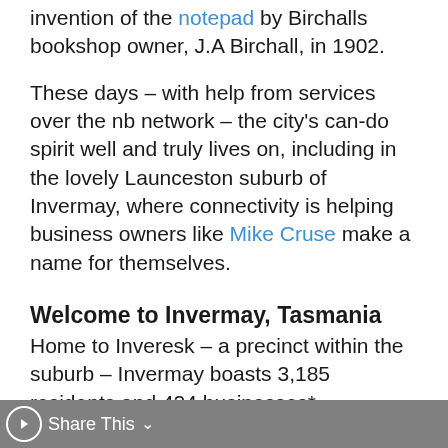invention of the notepad by Birchalls bookshop owner, J.A Birchall, in 1902.
These days – with help from services over the nb network – the city's can-do spirit well and truly lives on, including in the lovely Launceston suburb of Invermay, where connectivity is helping business owners like Mike Cruse make a name for themselves.
Welcome to Invermay, Tasmania
Home to Inveresk – a precinct within the suburb – Invermay boasts 3,185 residents and 424 businesses*.
One of these locals, real estate agent Isabo Davidson, says Invermay has undergone a revival in the last five or so years
Share This